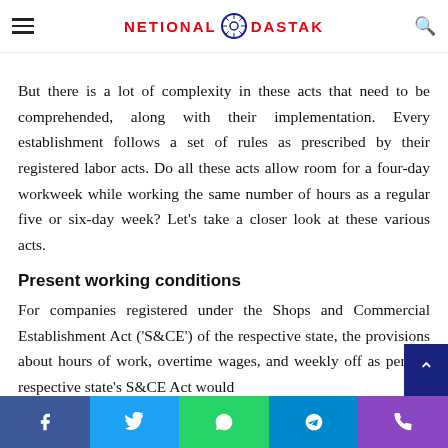NETIONAL DASTAK
present working culture of mandatory 5 working days.
But there is a lot of complexity in these acts that need to be comprehended, along with their implementation. Every establishment follows a set of rules as prescribed by their registered labor acts. Do all these acts allow room for a four-day workweek while working the same number of hours as a regular five or six-day week? Let's take a closer look at these various acts.
Present working conditions
For companies registered under the Shops and Commercial Establishment Act ('S&CE') of the respective state, the provisions about hours of work, overtime wages, and weekly off as per the respective state's S&CE Act would
Facebook Twitter WhatsApp Telegram Phone